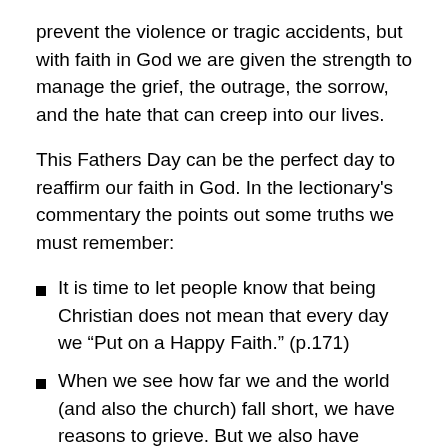prevent the violence or tragic accidents, but with faith in God we are given the strength to manage the grief, the outrage, the sorrow, and the hate that can creep into our lives.
This Fathers Day can be the perfect day to reaffirm our faith in God. In the lectionary's commentary the points out some truths we must remember:
It is time to let people know that being Christian does not mean that every day we “Put on a Happy Faith.” (p.171)
When we see how far we and the world (and also the church) fall short, we have reasons to grieve. But we also have reasons to hope that our holy grief will not have the last word. (p.172)
Christ really can step into the hurts of our lives and